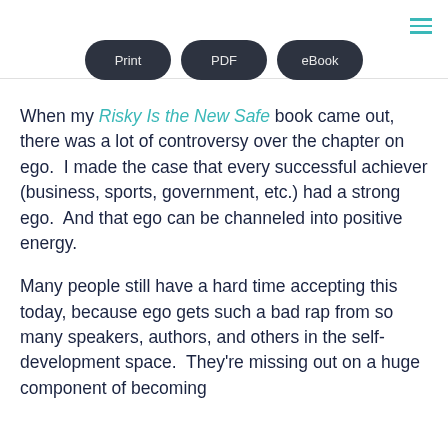[Figure (screenshot): Three dark rounded buttons labeled Print, PDF, and eBook in a row near the top of the page, with a teal hamburger menu icon in the top right corner.]
When my Risky Is the New Safe book came out, there was a lot of controversy over the chapter on ego.  I made the case that every successful achiever (business, sports, government, etc.) had a strong ego.  And that ego can be channeled into positive energy.
Many people still have a hard time accepting this today, because ego gets such a bad rap from so many speakers, authors, and others in the self-development space.  They're missing out on a huge component of becoming